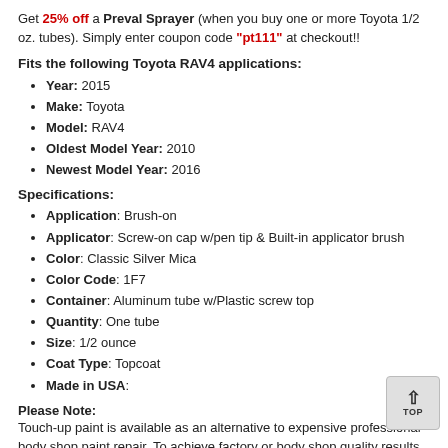Get 25% off a Preval Sprayer (when you buy one or more Toyota 1/2 oz. tubes). Simply enter coupon code "pt111" at checkout!!
Fits the following Toyota RAV4 applications:
Year: 2015
Make: Toyota
Model: RAV4
Oldest Model Year: 2010
Newest Model Year: 2016
Specifications:
Application: Brush-on
Applicator: Screw-on cap w/pen tip & Built-in applicator brush
Color: Classic Silver Mica
Color Code: 1F7
Container: Aluminum tube w/Plastic screw top
Quantity: One tube
Size: 1/2 ounce
Coat Type: Topcoat
Made in USA:
Please Note:
Touch-up paint is available as an alternative to expensive professional body shop paint repair. To achieve factory or body shop quality results please consult with a professional body & paint specialist. Brands cannot guarantee results. We recommend testing in an inconspicuous area first.